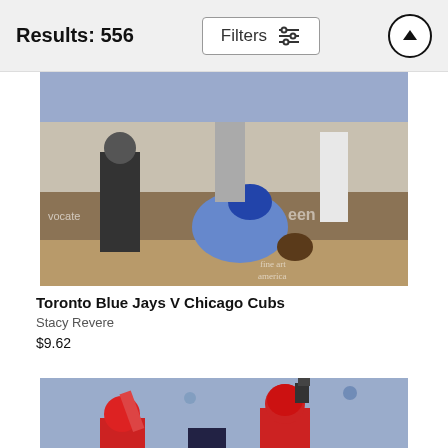Results: 556
[Figure (screenshot): Filters button with sliders icon and up-arrow circle button]
[Figure (photo): Baseball game action photo: Toronto Blue Jays vs Chicago Cubs, catcher on the ground at home plate, umpire and players visible, watermark 'fine art america']
Toronto Blue Jays V Chicago Cubs
Stacy Revere
$9.62
[Figure (photo): Baseball game action photo: Cincinnati Reds players celebrating, players in red uniforms raising arms, crowded stadium background]